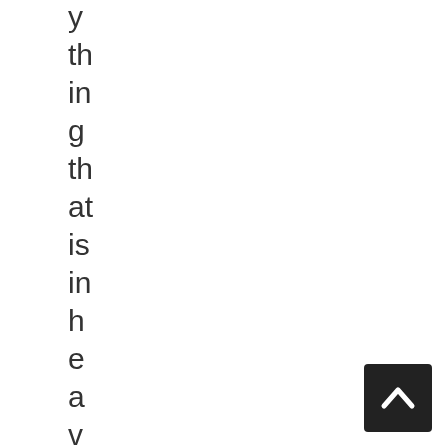y th in g th at is in h e a v e n a b o
[Figure (other): A scroll-to-top button in the bottom right corner, dark square with an upward chevron arrow icon]